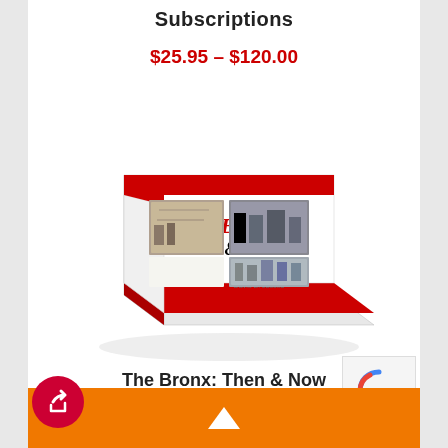Subscriptions
$25.95 – $120.00
[Figure (photo): 3D book cover of 'The Bronx: Then & Now' showing historic and modern photographs of the Bronx, with red spine and stripes, displayed at an angle]
The Bronx: Then & Now